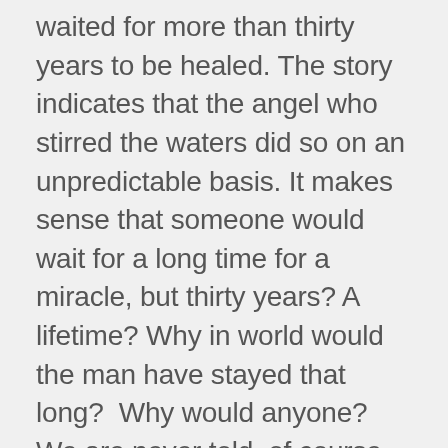waited for more than thirty years to be healed. The story indicates that the angel who stirred the waters did so on an unpredictable basis. It makes sense that someone would wait for a long time for a miracle, but thirty years? A lifetime? Why in world would the man have stayed that long?  Why would anyone? We are never told, of course, but we would have to consider one disturbingly simple possibility that would be consistent with the